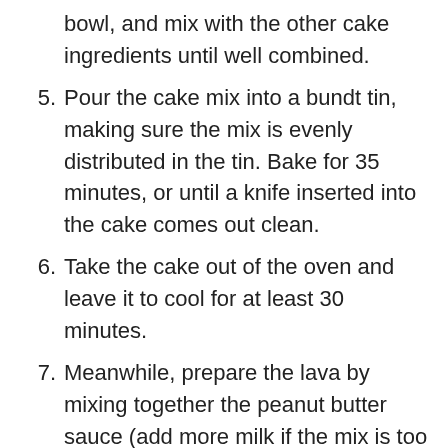bowl, and mix with the other cake ingredients until well combined.
5. Pour the cake mix into a bundt tin, making sure the mix is evenly distributed in the tin. Bake for 35 minutes, or until a knife inserted into the cake comes out clean.
6. Take the cake out of the oven and leave it to cool for at least 30 minutes.
7. Meanwhile, prepare the lava by mixing together the peanut butter sauce (add more milk if the mix is too thick). Then heat the chocolate sauce ingredients on a low heat until fully melted.
8. Turn out the cake and pour the peanut butter sauce over the top, drizzling over the sides and filling the